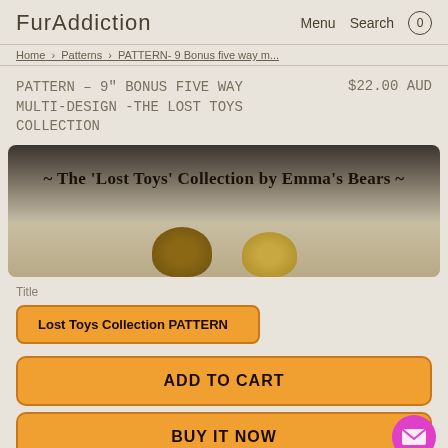FurAddiction   Menu  Search  0
Home > Patterns > PATTERN- 9 Bonus five way m...
PATTERN – 9" BONUS FIVE WAY MULTI-DESIGN -THE LOST TOYS COLLECTION   $22.00 AUD
[Figure (photo): Product image banner showing '~ The Lost Toys' Collection by Emma's Bears ~' text on a dark background with teddy bear shapes at the bottom]
Title
Lost Toys Collection PATTERN
ADD TO CART
BUY IT NOW